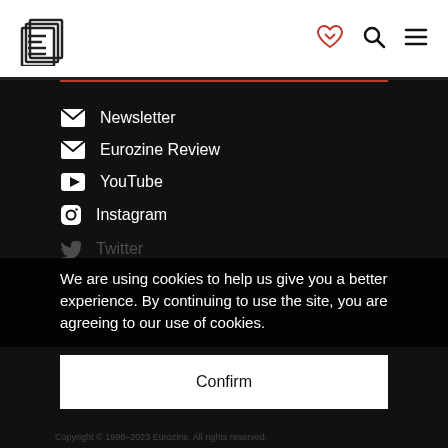[Figure (logo): Eurozine stacked pages logo in black outline]
[Figure (illustration): Red heart handshake icon]
[Figure (illustration): Black magnifying glass search icon]
[Figure (illustration): Black hamburger menu icon]
Newsletter
Eurozine Review
YouTube
Instagram
Twitter
Facebook
We are using cookies to help us give you a better experience. By continuing to use the site, you are agreeing to our use of cookies.
Confirm
Copyright © 1998-2023 Eurozine. All rights reserved.